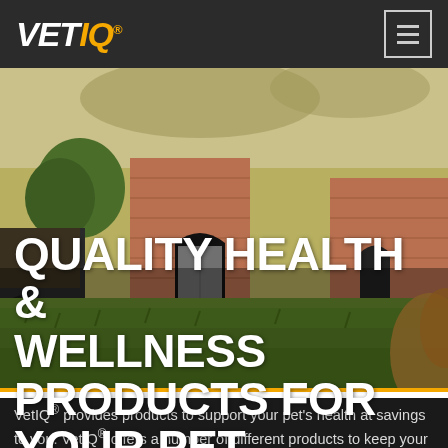VETIQ®
[Figure (photo): A farmyard scene with a green grass lawn in the foreground, a tractor on the left, brick farm buildings in the background, and what appears to be a golden dog partially visible on the right edge. Overlaid with hero text.]
QUALITY HEALTH & WELLNESS PRODUCTS FOR YOUR PET
VetIQ® provides products to support your pet's health at savings to you. VetIQ® offers a number of different products to keep your pet healthy, active and happy, including flea and tick